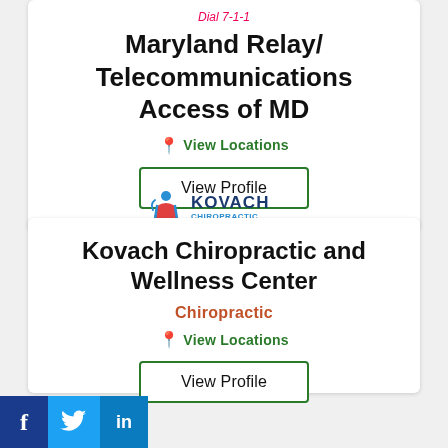Dial 7-1-1
Maryland Relay/ Telecommunications Access of MD
View Locations
View Profile
[Figure (logo): Kovach Chiropractic and Wellness Center logo with stylized figure and text]
Kovach Chiropractic and Wellness Center
Chiropractic
View Locations
View Profile
[Figure (logo): Social media icons: Facebook, Twitter, LinkedIn]